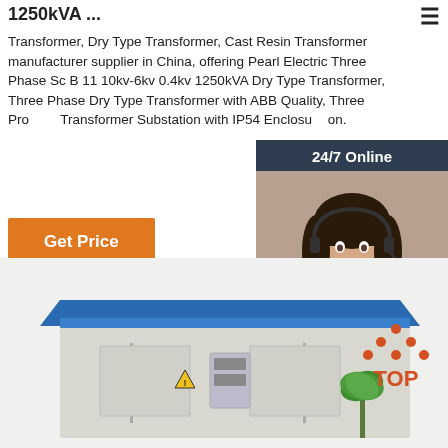1250kVA ...
Transformer, Dry Type Transformer, Cast Resin Transformer manufacturer supplier in China, offering Pearl Electric Three Phase Sc B 11 10kv-6kv 0.4kv 1250kVA Dry Type Transformer, Three Phase Dry Type Transformer with ABB Quality, Three Process Transformer Substation with IP54 Enclosure on.
[Figure (illustration): Customer service representative with headset, chat widget with '24/7 Online', 'Click here for free chat!', and 'QUOTATION' button]
[Figure (photo): Outdoor transformer substation unit with blue roof, grey enclosure, warning label, switches and palm tree in background]
[Figure (logo): Orange TOP badge with dots forming a triangle above the word TOP]